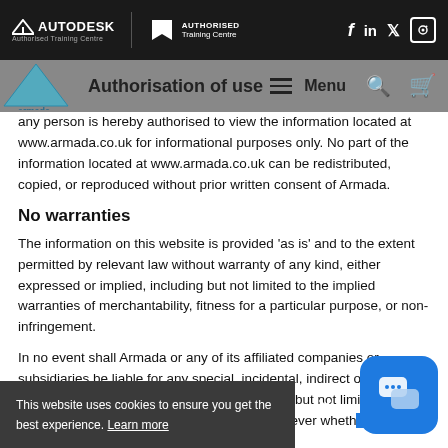[Figure (logo): Autodesk Authorised Training Centre and Adobe Authorised Training Centre logos with social media icons (Facebook, LinkedIn, Twitter, Instagram) on dark header bar]
[Figure (logo): Armada logo (triangle/arrow shape) overlaid on grey navigation bar with 'Authorisation of use' title, Menu button, search and cart icons]
any person is hereby authorised to view the information located at www.armada.co.uk for informational purposes only. No part of the information located at www.armada.co.uk can be redistributed, copied, or reproduced without prior written consent of Armada.
No warranties
The information on this website is provided 'as is' and to the extent permitted by relevant law without warranty of any kind, either expressed or implied, including but not limited to the implied warranties of merchantability, fitness for a particular purpose, or non-infringement.
In no event shall Armada or any of its affiliated companies or subsidiaries be liable for any special, incidental, indirect or consequential damages of any kind (including but not limited to lost data or profits), or any other damages whatsoever wheth... eory of ormance of this
This website uses cookies to ensure you get the best experience. Learn more